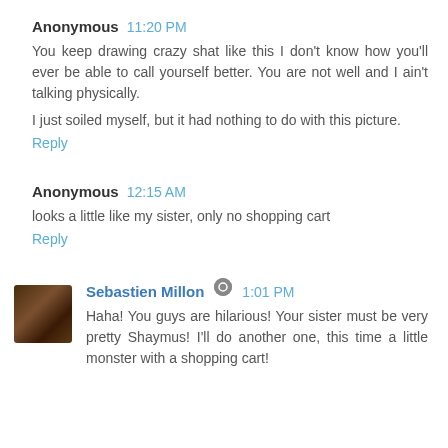Anonymous 11:20 PM
You keep drawing crazy shat like this I don't know how you'll ever be able to call yourself better. You are not well and I ain't talking physically.

I just soiled myself, but it had nothing to do with this picture.
Reply
Anonymous 12:15 AM
looks a little like my sister, only no shopping cart
Reply
Sebastien Millon 1:01 PM
Haha! You guys are hilarious! Your sister must be very pretty Shaymus! I'll do another one, this time a little monster with a shopping cart!